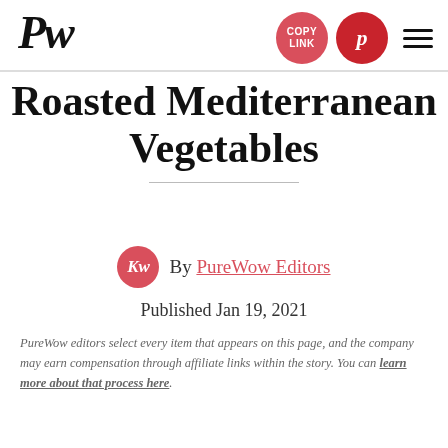PW | COPY LINK | Pinterest | Menu
Roasted Mediterranean Vegetables
By PureWow Editors
Published Jan 19, 2021
PureWow editors select every item that appears on this page, and the company may earn compensation through affiliate links within the story. You can learn more about that process here.
AVERAGE (32)
[Figure (photo): A white bowl filled with roasted Mediterranean vegetables including zucchini, tomatoes, red onion, and other colorful roasted vegetables with herbs]